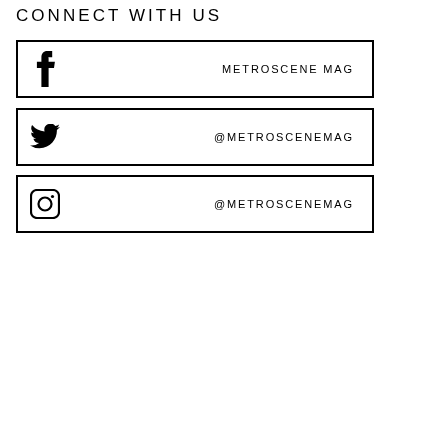CONNECT WITH US
f  METROSCENE MAG
@METROSCENEMAG
@METROSCENEMAG